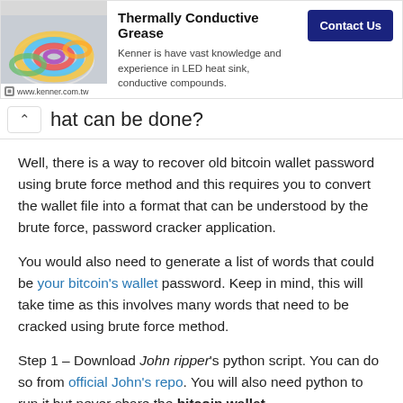[Figure (screenshot): Advertisement banner for Thermally Conductive Grease by Kenner (www.kenner.com.tw) with product image, description, and Contact Us button]
What can be done?
Well, there is a way to recover old bitcoin wallet password using brute force method and this requires you to convert the wallet file into a format that can be understood by the brute force, password cracker application.
You would also need to generate a list of words that could be your bitcoin's wallet password. Keep in mind, this will take time as this involves many words that need to be cracked using brute force method.
Step 1 – Download John ripper's python script. You can do so from official John's repo. You will also need python to run it but never share the bitcoin wallet